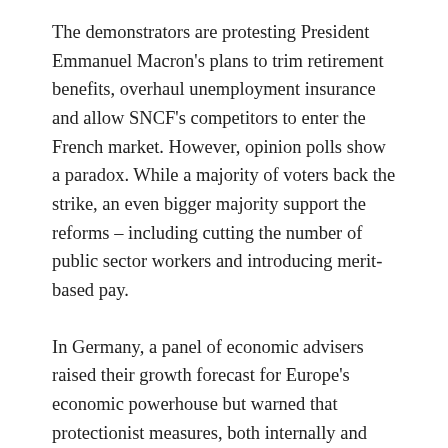The demonstrators are protesting President Emmanuel Macron's plans to trim retirement benefits, overhaul unemployment insurance and allow SNCF's competitors to enter the French market. However, opinion polls show a paradox. While a majority of voters back the strike, an even bigger majority support the reforms – including cutting the number of public sector workers and introducing merit-based pay.
In Germany, a panel of economic advisers raised their growth forecast for Europe's economic powerhouse but warned that protectionist measures, both internally and externally, could damage the robust upswing. The panel of economists stated they expected gross domestic product to grow by 2.3% this year, up 0.1% from their previous forecast. In addition, the Munich-based Ifo